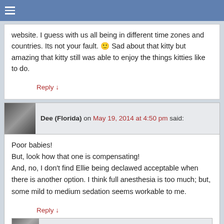Navigation header bar
website. I guess with us all being in different time zones and countries. Its not your fault. 🙂 Sad about that kitty but amazing that kitty still was able to enjoy the things kitties like to do.
Reply ↓
Dee (Florida) on May 19, 2014 at 4:50 pm said:
Poor babies!
But, look how that one is compensating!
And, no, I don't find Ellie being declawed acceptable when there is another option. I think full anesthesia is too much; but, some mild to medium sedation seems workable to me.
Reply ↓
Michael Broad on May 19, 2014 at 5:04 pm said:
Sorry for the website going down for 3 hours. It is the host